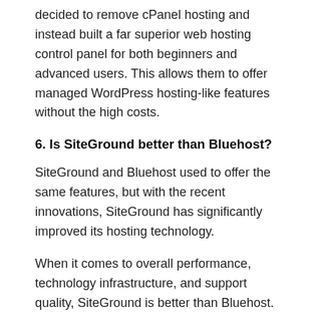decided to remove cPanel hosting and instead built a far superior web hosting control panel for both beginners and advanced users. This allows them to offer managed WordPress hosting-like features without the high costs.
6. Is SiteGround better than Bluehost?
SiteGround and Bluehost used to offer the same features, but with the recent innovations, SiteGround has significantly improved its hosting technology.
When it comes to overall performance, technology infrastructure, and support quality, SiteGround is better than Bluehost. However, with all this innovation, SiteGround pricing is significantly higher.
So when it comes to pricing, Bluehost is better than SiteGround because not only is it 50% cheaper, but